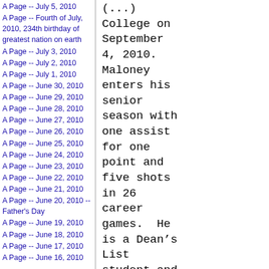A Page -- July 5, 2010
A Page -- Fourth of July, 2010, 234th birthday of greatest nation on earth
A Page -- July 3, 2010
A Page -- July 2, 2010
A Page -- July 1, 2010
A Page -- June 30, 2010
A Page -- June 29, 2010
A Page -- June 28, 2010
A Page -- June 27, 2010
A Page -- June 26, 2010
A Page -- June 25, 2010
A Page -- June 24, 2010
A Page -- June 23, 2010
A Page -- June 22, 2010
A Page -- June 21, 2010
A Page -- June 20, 2010 -- Father's Day
A Page -- June 19, 2010
A Page -- June 18, 2010
A Page -- June 17, 2010
A Page -- June 16, 2010
(...) College on September 4, 2010. Maloney enters his senior season with one assist for one point and five shots in 26 career games.  He is a Dean’s List student and a  member of the Chi Alpha Sigma Honor Society.